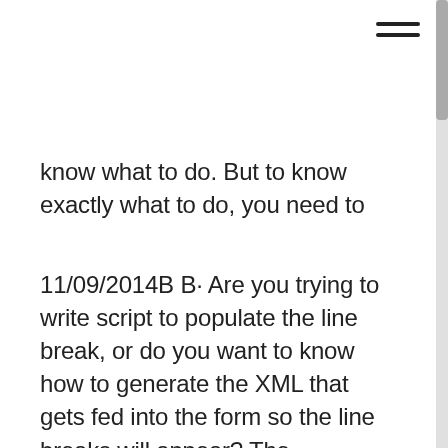know what to do. But to know exactly what to do, you need to
11/09/2014B B· Are you trying to write script to populate the line break, or do you want to know how to generate the XML that gets fed into the form so the line breaks will appear? The instructions I provided above will show you how to script it. If you want to know what the XML should look like, do this: Save your form as PDF (not XDP) 19/05/2014B B· Line breaks in fillable forms When filling in a form in Word, how does the user insert a line break? Yes, you do need a different type as while the text will word-warp in a Plain Text Content Control, you cannot force a